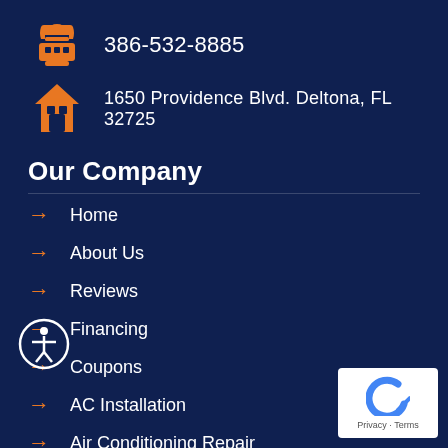386-532-8885
1650 Providence Blvd. Deltona, FL 32725
Our Company
Home
About Us
Reviews
Financing
Coupons
AC Installation
Air Conditioning Repair
AC Parts & Service
Commercial HVAC
Mini Split AC